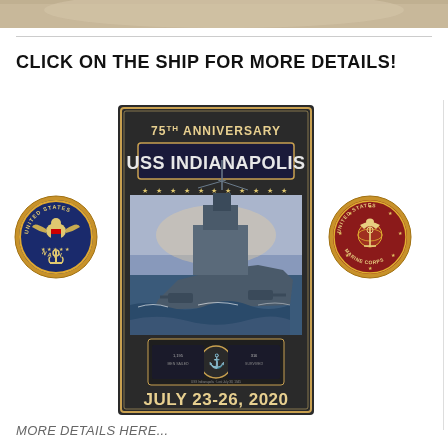[Figure (photo): Top strip showing partial image of people or figures, cropped at the top of the page]
CLICK ON THE SHIP FOR MORE DETAILS!
[Figure (illustration): USS Indianapolis 75th Anniversary commemorative poster showing the warship at sea, dated July 23-26, 2020, with anchor emblem and statistics (1,195 men sailed, 316 survived)]
[Figure (logo): United States Navy seal/emblem - circular blue and gold badge with eagle]
[Figure (logo): United States Marine Corps seal - circular emblem with eagle globe and anchor on red background]
MORE DETAILS HERE...